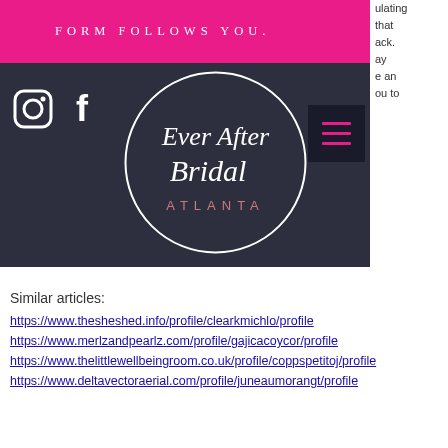[Figure (screenshot): Website header with pink banner saying FORM FOLLOWS YOU. and dark background with Ever After Bridal Atlanta circular logo, Instagram and Facebook icons, and hamburger menu button]
ulating that ack. ay e an ou to
Similar articles:
https://www.thesheshed.info/profile/clearkmichlo/profile
https://www.merlzandpearlz.com/profile/gajicacoycor/profile
https://www.thelittlewellbeingroom.co.uk/profile/coppspetitoj/profile
https://www.deltavectoraerial.com/profile/juneaumorangt/profile